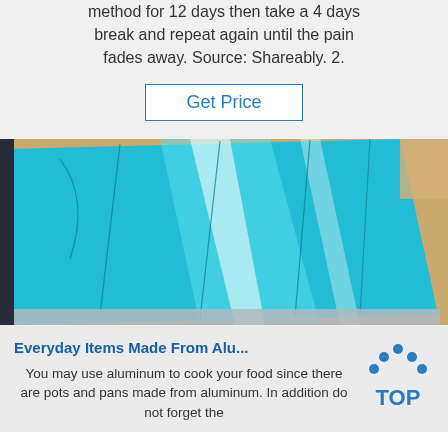method for 12 days then take a 4 days break and repeat again until the pain fades away. Source: Shareably. 2.
Get Price
[Figure (photo): A shiny blue/teal aluminum sheet with reflective surface and visible score lines, placed on a tan/beige background.]
Everyday Items Made From Alu...
You may use aluminum to cook your food since there are pots and pans made from aluminum. In addition do not forget the
[Figure (logo): TOP logo with blue dots forming a triangle/arc above the word TOP in bold blue letters]